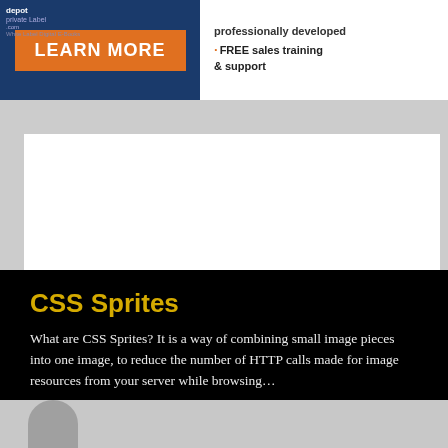[Figure (screenshot): Top banner advertisement with blue background, orange LEARN MORE button, and text about free sales training and support]
CSS Sprites
What are CSS Sprites? It is a way of combining small image pieces into one image, to reduce the number of HTTP calls made for image resources from your server while browsing…
04 February 2011
CSS, CSS Sprite, HTML, XHTML
[Figure (screenshot): Bottom strip showing partial thumbnail of another blog post]